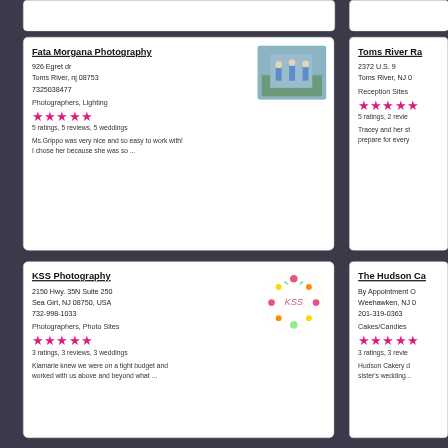Fata Morgana Photography
926 Egret dr
Toms River, nj 08753
7325038477
Photographers, Lighting
5 ratings, 5 reviews, 5 weddings
Ms.Grippo was very nice and so easy to work with! I chose her because she was so ...
Toms River Ra
2372 U.S. 9
Toms River, NJ 0
Reception Sites
5 ratings, 2 revie
Tracey and her st prepare for every
KSS Photography
2150 Hwy. 35N Suite 250
Sea Girt, NJ 08750, USA
732-998-1033
Photographers, Photo Sites
3 ratings, 3 reviews, 3 weddings
Kiamarie knew we were on a tight budget and worked with us above and beyond what ...
The Hudson Ca
By Appointment O
Weehawken, NJ 0
201-319-0363
Cakes/Candies
3 ratings, 3 revie
Hudson Cakery d sister's wedding...